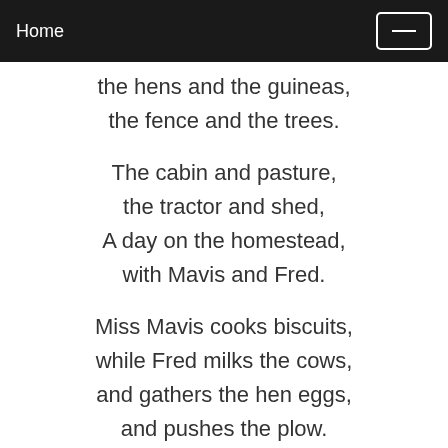Home
the hens and the guineas,
the fence and the trees.

The cabin and pasture,
the tractor and shed,
A day on the homestead,
with Mavis and Fred.

Miss Mavis cooks biscuits,
while Fred milks the cows,
and gathers the hen eggs,
and pushes the plow.